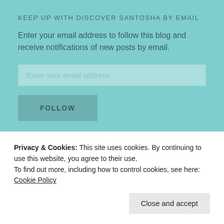KEEP UP WITH DISCOVER SANTOSHA BY EMAIL
Enter your email address to follow this blog and receive notifications of new posts by email.
[Figure (screenshot): Email input field with placeholder text 'Enter your email address']
[Figure (screenshot): FOLLOW button in teal/grey color]
QUOTE OF THE MONTH
Privacy & Cookies: This site uses cookies. By continuing to use this website, you agree to their use.
To find out more, including how to control cookies, see here: Cookie Policy
[Figure (screenshot): Close and accept button]